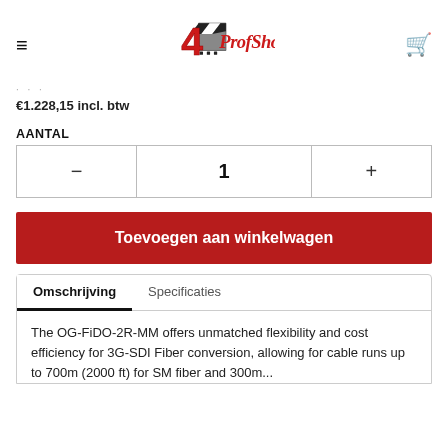4ProfShop logo, hamburger menu, cart icon
€1.228,15 incl. btw
AANTAL
| - | 1 | + |
| --- | --- | --- |
Toevoegen aan winkelwagen
Omschrijving | Specificaties
The OG-FiDO-2R-MM offers unmatched flexibility and cost efficiency for 3G-SDI Fiber conversion, allowing for cable runs up to 700m (2000 ft) for SM fiber and 300m...